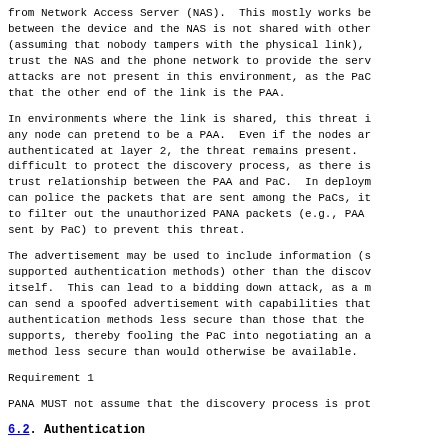from Network Access Server (NAS).  This mostly works be between the device and the NAS is not shared with other (assuming that nobody tampers with the physical link), trust the NAS and the phone network to provide the serv attacks are not present in this environment, as the PaC that the other end of the link is the PAA.
In environments where the link is shared, this threat i any node can pretend to be a PAA.  Even if the nodes ar authenticated at layer 2, the threat remains present. difficult to protect the discovery process, as there is trust relationship between the PAA and PaC.  In deploym can police the packets that are sent among the PaCs, it to filter out the unauthorized PANA packets (e.g., PAA sent by PaC) to prevent this threat.
The advertisement may be used to include information (s supported authentication methods) other than the discov itself.  This can lead to a bidding down attack, as a m can send a spoofed advertisement with capabilities that authentication methods less secure than those that the supports, thereby fooling the PaC into negotiating an a method less secure than would otherwise be available.
Requirement 1
PANA MUST not assume that the discovery process is prot
6.2.  Authentication